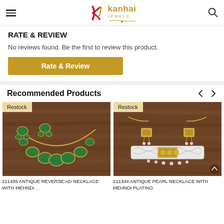Kanhai Jewels
RATE & REVIEW
No reviews found. Be the first to review this product.
Rate & Review
Recommended Products
[Figure (photo): Antique reverse AD necklace with mehndi plating jewelry set on wooden background, with 'Restock' badge]
211455 ANTIQUE REVERSE AD NECKLACE WITH MEHNDI ...
[Figure (photo): Antique pearl necklace with mehndi plating jewelry set on wooden background, with 'Restock' badge]
211344 ANTIQUE PEARL NECKLACE WITH MEHNDI PLATING